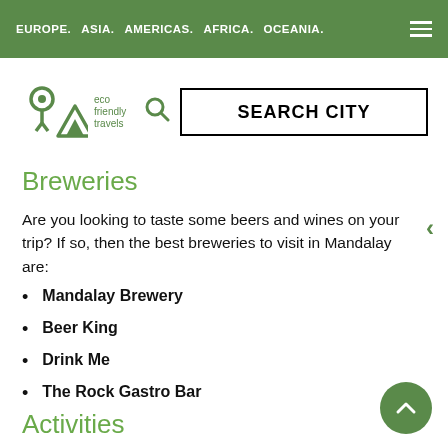EUROPE. ASIA. AMERICAS. AFRICA. OCEANIA.
[Figure (logo): Eco Friendly Travels logo with green location pin and mountain icon]
SEARCH CITY
Breweries
Are you looking to taste some beers and wines on your trip? If so, then the best breweries to visit in Mandalay are:
Mandalay Brewery
Beer King
Drink Me
The Rock Gastro Bar
Activities